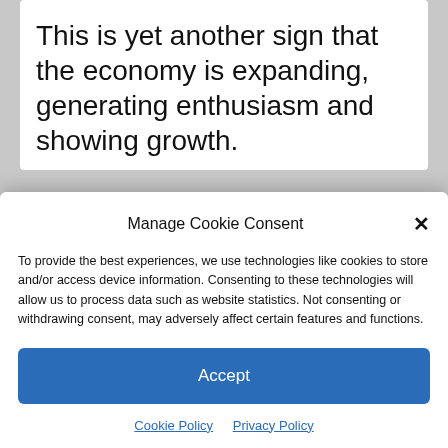This is yet another sign that the economy is expanding, generating enthusiasm and showing growth.
Manage Cookie Consent
To provide the best experiences, we use technologies like cookies to store and/or access device information. Consenting to these technologies will allow us to process data such as website statistics. Not consenting or withdrawing consent, may adversely affect certain features and functions.
Accept
Cookie Policy   Privacy Policy
cites key takeaways: